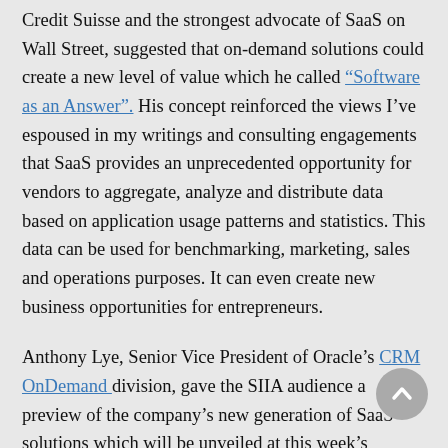Credit Suisse and the strongest advocate of SaaS on Wall Street, suggested that on-demand solutions could create a new level of value which he called “Software as an Answer”. His concept reinforced the views I’ve espoused in my writings and consulting engagements that SaaS provides an unprecedented opportunity for vendors to aggregate, analyze and distribute data based on application usage patterns and statistics. This data can be used for benchmarking, marketing, sales and operations purposes. It can even create new business opportunities for entrepreneurs.
Anthony Lye, Senior Vice President of Oracle’s CRM OnDemand division, gave the SIIA audience a preview of the company’s new generation of SaaS solutions which will be unveiled at this week’s OpenWorld conference. They include an impressive user-friendly interface which borrows heavily from the best of